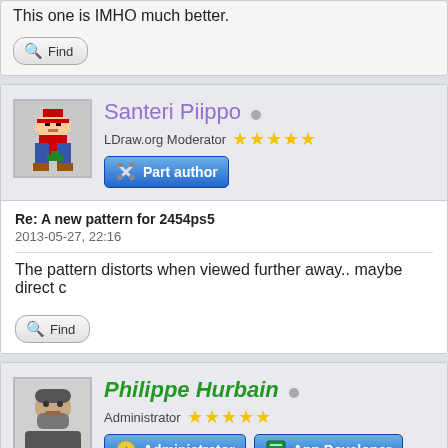This one is IMHO much better.
Find
[Figure (screenshot): User profile for Santeri Piippo, LDraw.org Moderator with 5 stars, Part author badge]
Re: A new pattern for 2454ps5
2013-05-27, 22:16
The pattern distorts when viewed further away.. maybe direct c
Find
[Figure (screenshot): User profile for Philippe Hurbain, Administrator with 5 stars, Administrator and App Developer badges]